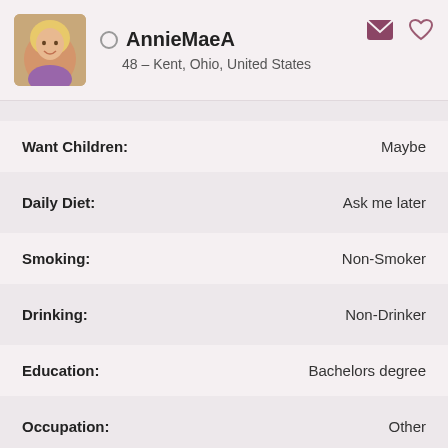AnnieMaeA – 48 – Kent, Ohio, United States
Want Children: Maybe
Daily Diet: Ask me later
Smoking: Non-Smoker
Drinking: Non-Drinker
Education: Bachelors degree
Occupation: Other
Income: Enough